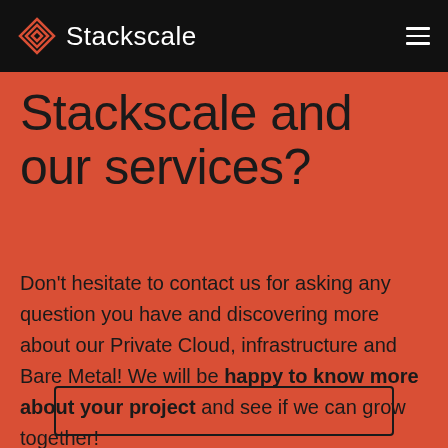Stackscale
Stackscale and our services?
Don't hesitate to contact us for asking any question you have and discovering more about our Private Cloud, infrastructure and Bare Metal! We will be happy to know more about your project and see if we can grow together!